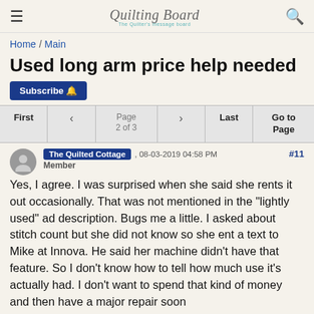Quilting Board — The Quilter's Message Board
Home / Main
Used long arm price help needed
Subscribe
First | < | Page 2 of 3 | > | Last | Go to Page
The Quilted Cottage , 08-03-2019 04:58 PM #11
Member
Yes, I agree. I was surprised when she said she rents it out occasionally. That was not mentioned in the "lightly used" ad description. Bugs me a little. I asked about stitch count but she did not know so she ent a text to Mike at Innova. He said her machine didn't have that feature. So I don't know how to tell how much use it's actually had. I don't want to spend that kind of money and then have a major repair soon